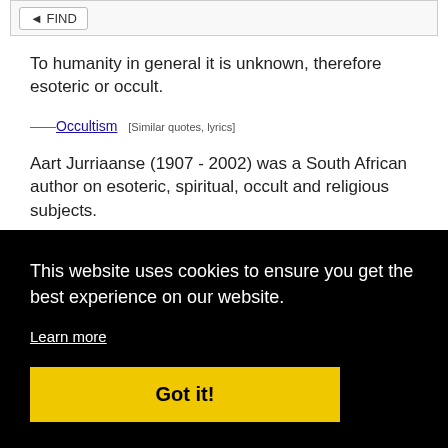[Figure (screenshot): Top portion of a webpage showing search results for 'occult' quotes with highlighted keyword]
To humanity in general it is unknown, therefore esoteric or occult.
——Occultism  [Similar quotes, lyrics]
Aart Jurriaanse (1907 - 2002) was a South African author on esoteric, spiritual, occult and religious subjects.
——Aart Juriaanse  [Similar quotes, lyrics]
To explain their occult and mystical experiences,
This website uses cookies to ensure you get the best experience on our website.
Learn more
Got it!
ons and having occult potency.